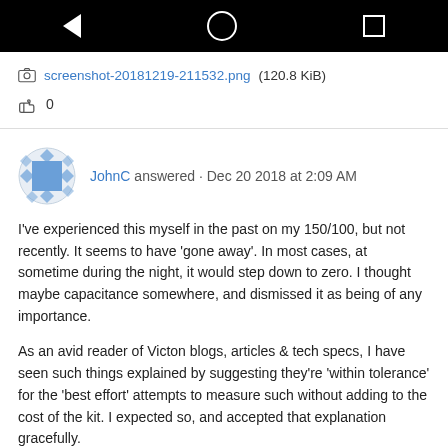[Figure (screenshot): Android phone navigation bar with back, home, and recent apps buttons on black background]
screenshot-20181219-211532.png (120.8 KiB)
👍 0
JohnC answered · Dec 20 2018 at 2:09 AM
I've experienced this myself in the past on my 150/100, but not recently. It seems to have 'gone away'. In most cases, at sometime during the night, it would step down to zero. I thought maybe capacitance somewhere, and dismissed it as being of any importance.
As an avid reader of Victon blogs, articles & tech specs, I have seen such things explained by suggesting they're 'within tolerance' for the 'best effort' attempts to measure such without adding to the cost of the kit. I expected so, and accepted that explanation gracefully.